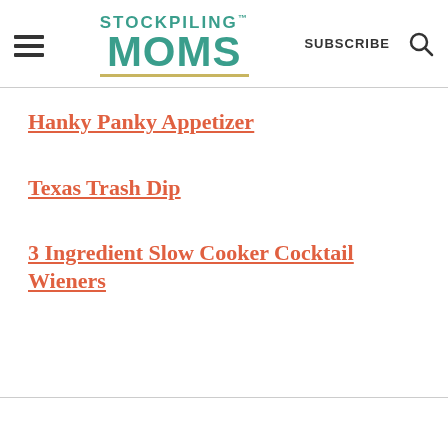STOCKPILING MOMS | SUBSCRIBE
Hanky Panky Appetizer
Texas Trash Dip
3 Ingredient Slow Cooker Cocktail Wieners